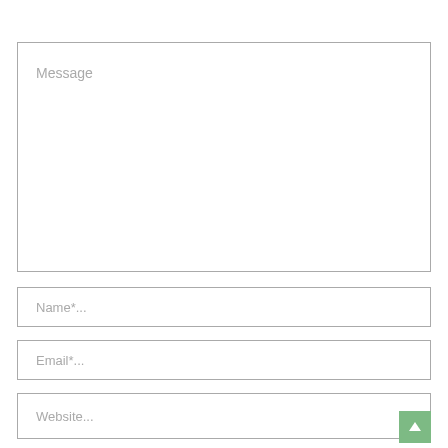Message
Name*...
Email*...
Website...